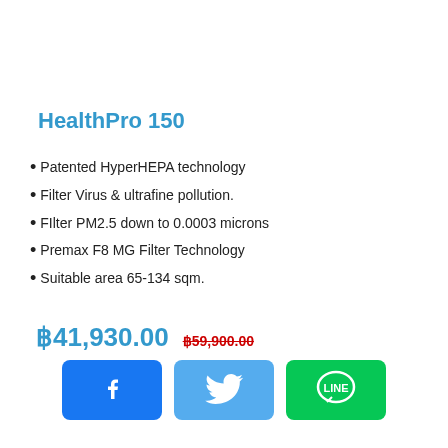HealthPro 150
Patented HyperHEPA technology
Filter Virus & ultrafine pollution.
Filter PM2.5 down to 0.0003 microns
Premax F8 MG Filter Technology
Suitable area 65-134 sqm.
฿41,930.00  ฿59,900.00
[Figure (other): Social sharing buttons: Facebook (blue), Twitter (light blue), LINE (green)]